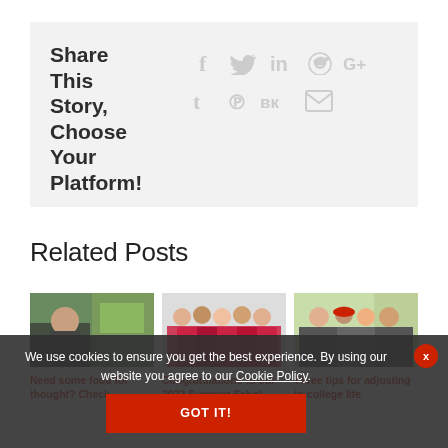Share This Story, Choose Your Platform!
[Figure (infographic): Social media share icons: Facebook, Twitter, LinkedIn, Reddit, Google+, Tumblr, Pinterest, VK, Email]
Related Posts
[Figure (photo): Thumbnail image 1: student with screen]
[Figure (photo): Thumbnail image 2: group of students in formal wear]
[Figure (photo): Thumbnail image 3: group of students outdoors]
Need some food for thought? Check
Congratulations to our 2022 Summer Scholars
Three tips for adjusting to college life
We use cookies to ensure you get the best experience. By using our website you agree to our Cookie Policy.